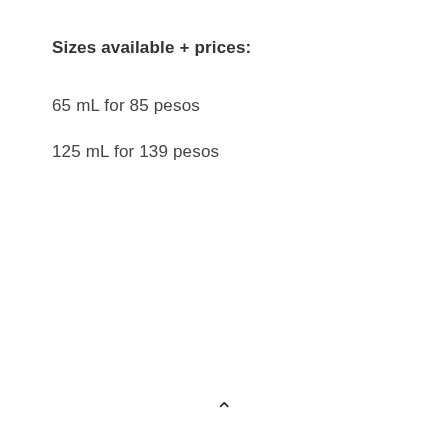Sizes available + prices:
65 mL for 85 pesos
125 mL for 139 pesos
^